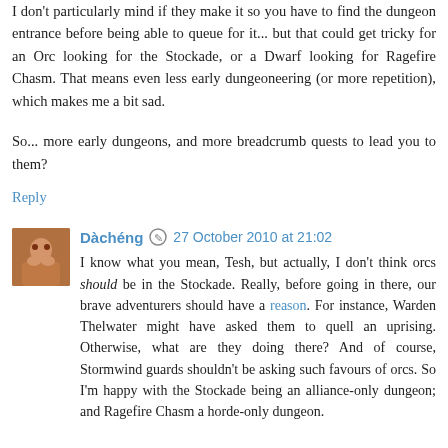I don't particularly mind if they make it so you have to find the dungeon entrance before being able to queue for it... but that could get tricky for an Orc looking for the Stockade, or a Dwarf looking for Ragefire Chasm. That means even less early dungeoneering (or more repetition), which makes me a bit sad.
So... more early dungeons, and more breadcrumb quests to lead you to them?
Reply
Dàchéng 27 October 2010 at 21:02
I know what you mean, Tesh, but actually, I don't think orcs should be in the Stockade. Really, before going in there, our brave adventurers should have a reason. For instance, Warden Thelwater might have asked them to quell an uprising. Otherwise, what are they doing there? And of course, Stormwind guards shouldn't be asking such favours of orcs. So I'm happy with the Stockade being an alliance-only dungeon; and Ragefire Chasm a horde-only dungeon.